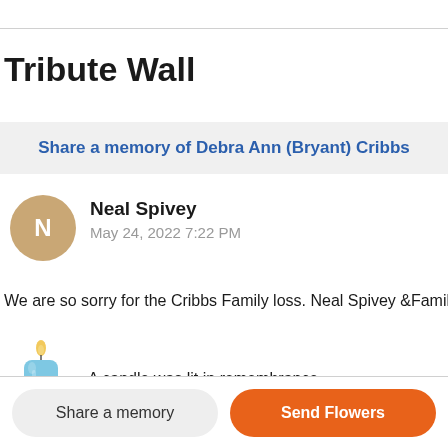Tribute Wall
Share a memory of Debra Ann (Bryant) Cribbs
Neal Spivey
May 24, 2022 7:22 PM
We are so sorry for the Cribbs Family loss. Neal Spivey &Family
[Figure (illustration): Blue candle icon]
A candle was lit in remembrance
Share a memory
Send Flowers